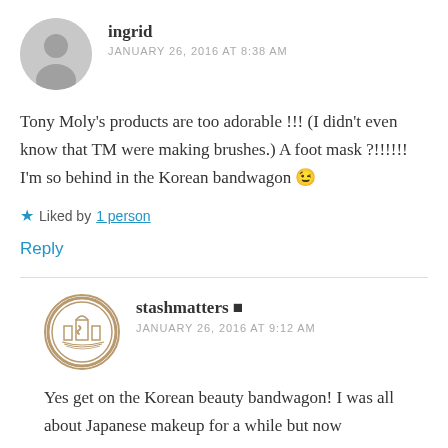ingrid
JANUARY 26, 2016 AT 8:38 AM
Tony Moly's products are too adorable !!! (I didn't even know that TM were making brushes.) A foot mask ?!!!!!! I'm so behind in the Korean bandwagon 😉
★ Liked by 1 person
Reply
stashmatters
JANUARY 26, 2016 AT 9:12 AM
Yes get on the Korean beauty bandwagon! I was all about Japanese makeup for a while but now